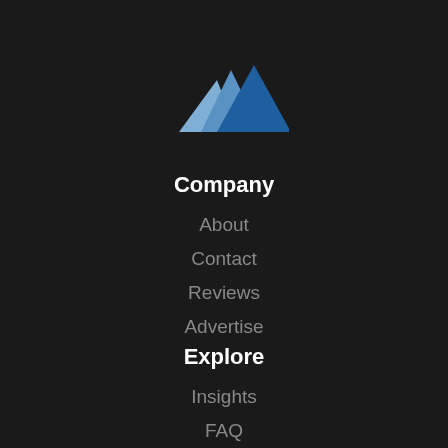[Figure (logo): Mountain peaks logo: two lighter blue triangular peaks on left, one larger darker blue triangular peak on right, against dark background]
Company
About
Contact
Reviews
Advertise
Explore
Insights
FAQ